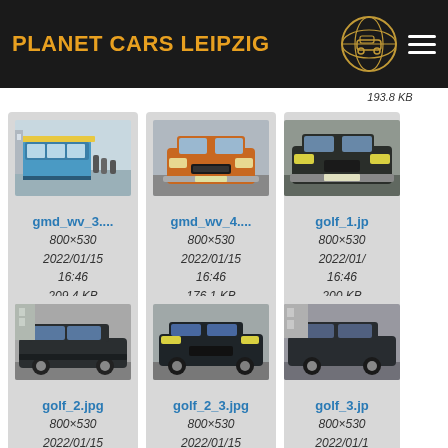PLANET CARS LEIPZIG
193.8 KB   166.3 KB   186.8 KB
[Figure (photo): Thumbnail of gmd_wv_3 - blue tram/trailer vehicle]
gmd_wv_3...
800×530
2022/01/15
16:46
209.4 KB
[Figure (photo): Thumbnail of gmd_wv_4 - orange/brown car front view]
gmd_wv_4...
800×530
2022/01/15
16:46
176.1 KB
[Figure (photo): Thumbnail of golf_1.jpg - dark VW Golf front view]
golf_1.jp
800×530
2022/01/
16:46
200 KB
[Figure (photo): Thumbnail of golf_2.jpg - dark VW Golf side view]
golf_2.jpg
800×530
2022/01/15
[Figure (photo): Thumbnail of golf_2_3.jpg - dark VW Golf front]
golf_2_3.jpg
800×530
2022/01/15
[Figure (photo): Thumbnail of golf_3.jp - dark VW Golf side]
golf_3.jp
800×530
2022/01/1